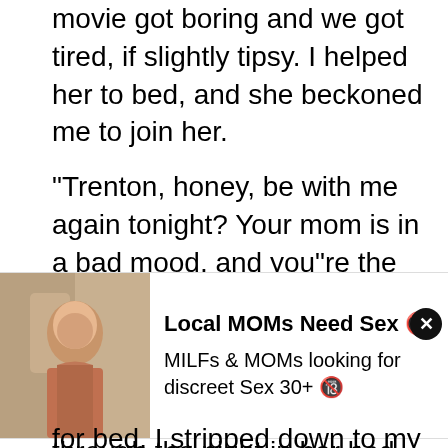movie got boring and we got tired, if slightly tipsy. I helped her to bed, and she beckoned me to join her.
"Trenton, honey, be with me again tonight? Your mom is in a bad mood, and you"re the only company I"ve got these days."
My cock twitched in my jeans, and my mind raced back to my last attempt to sleep through the night in her bed. But her sad
[Figure (other): Advertisement banner with a woman's photo on the left and text 'Local MOMs Need Sex 🔞 MILFs & MOMs looking for discreet Sex 30+ 🔞' on the right with a close button]
for bed. I stripped down to my boxers and